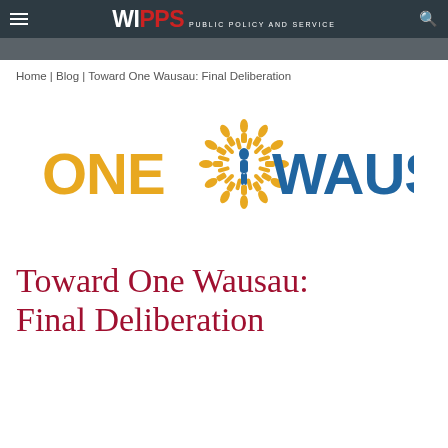WIPPS PUBLIC POLICY and SERVICE
Home | Blog | Toward One Wausau: Final Deliberation
[Figure (logo): One Wausau logo: stylized golden sun-burst of human figures surrounding a central blue person figure, with 'ONE' in gold text on the left and 'WAUSAU' in blue text on the right]
Toward One Wausau: Final Deliberation